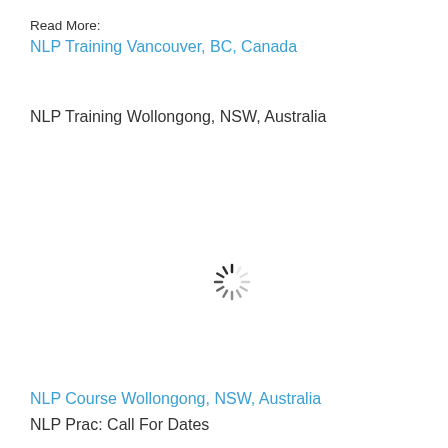Read More:
NLP Training Vancouver, BC, Canada
NLP Training Wollongong, NSW, Australia
[Figure (other): Loading spinner / throbber icon — circular dashed spinner animation placeholder]
NLP Course Wollongong, NSW, Australia
NLP Prac: Call For Dates